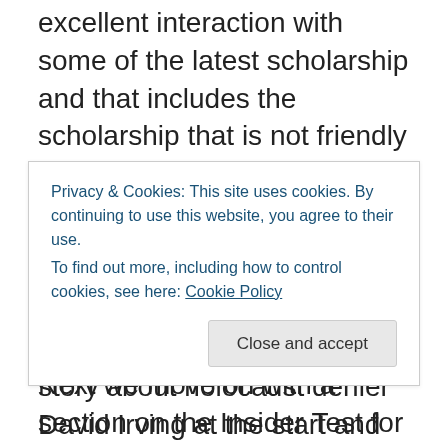excellent interaction with some of the latest scholarship and that includes the scholarship that is not friendly to his position. He interacts with the ideas of Second Temple Judaism using sources like Hurtado and Bauckham as well.
Next we move on with a section on the Insider Test for Faith. This is certainly a response as is said to an atheist who would love to be mentioned.
Anyway, the point of the Insider Test for Faith is asking from an internal approach if theism does explain the data
Privacy & Cookies: This site uses cookies. By continuing to use this website, you agree to their use.
To find out more, including how to control cookies, see here: Cookie Policy
story about holocaust denier David Irving at the start and